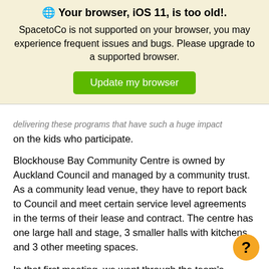[Figure (screenshot): Browser compatibility warning banner with globe icon, bold title 'Your browser, iOS 11, is too old!', warning text, and green 'Update my browser' button on a light yellow background.]
delivering these programs that have such a huge impact on the kids who participate.
Blockhouse Bay Community Centre is owned by Auckland Council and managed by a community trust. As a community lead venue, they have to report back to Council and meet certain service level agreements in the terms of their lease and contract. The centre has one large hall and stage, 3 smaller halls with kitchens and 3 other meeting spaces.
In that first meeting, we went through the team's aspirations for what they wanted to improve at the centre.